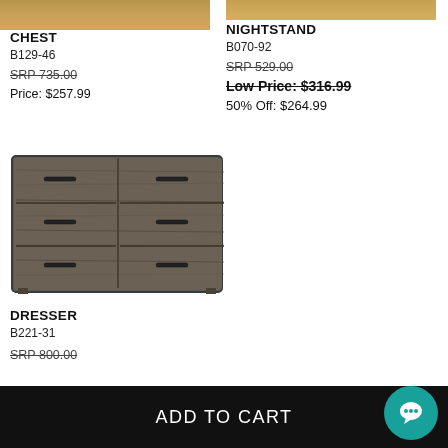[Figure (photo): Cropped photo of a chest of drawers, dark wood/rustic finish, partially visible at top of page]
CHEST
B129-46
SRP 735.00
Price: $257.99
[Figure (photo): Cropped photo of a nightstand, partially visible at top of page]
NIGHTSTAND
B070-92
SRP 529.00
Low Price: $316.99
50% Off: $264.99
[Figure (photo): Gray rustic wood dresser with 6 drawers and black bar handles]
DRESSER
B221-31
SRP 800.00
ADD TO CART